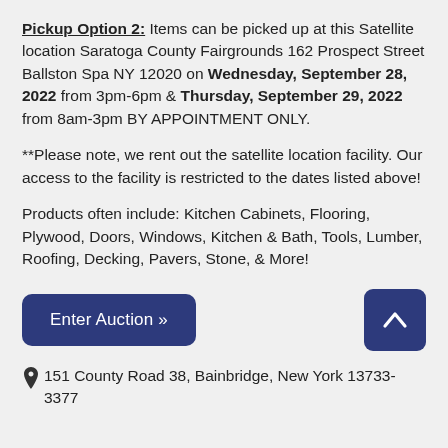Pickup Option 2: Items can be picked up at this Satellite location Saratoga County Fairgrounds 162 Prospect Street Ballston Spa NY 12020 on Wednesday, September 28, 2022 from 3pm-6pm & Thursday, September 29, 2022 from 8am-3pm BY APPOINTMENT ONLY.
**Please note, we rent out the satellite location facility. Our access to the facility is restricted to the dates listed above!
Products often include: Kitchen Cabinets, Flooring, Plywood, Doors, Windows, Kitchen & Bath, Tools, Lumber, Roofing, Decking, Pavers, Stone, & More!
[Figure (other): Two buttons: 'Enter Auction »' button (dark navy, rounded) on the left, and an up-arrow button (dark navy, square-rounded) on the right.]
151 County Road 38, Bainbridge, New York 13733-3377